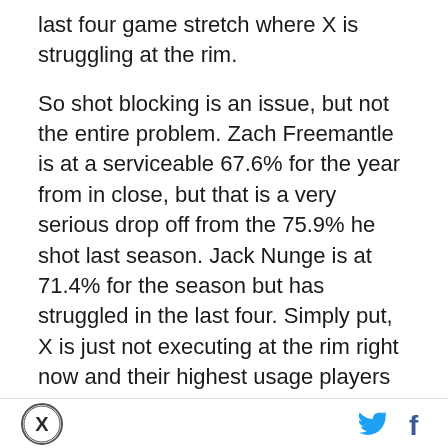last four game stretch where X is struggling at the rim.
So shot blocking is an issue, but not the entire problem. Zach Freemantle is at a serviceable 67.6% for the year from in close, but that is a very serious drop off from the 75.9% he shot last season. Jack Nunge is at 71.4% for the season but has struggled in the last four. Simply put, X is just not executing at the rim right now and their highest usage players are the most significant offenders.
Fixing this issue doesn't seem like a significant problem. Stay away from Kur Kuath and Ryan Kalkbrenner, hope Zach Freemantle regresses to his mean, and keep getting good looks. Just a game ago
[Figure (logo): Circular logo with X letter mark in dark color on white background with border]
[Figure (logo): Twitter bird icon in blue]
[Figure (logo): Facebook f icon in dark blue]